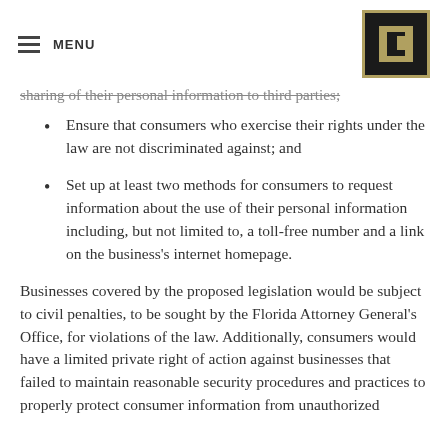MENU
sharing of their personal information to third parties;
Ensure that consumers who exercise their rights under the law are not discriminated against; and
Set up at least two methods for consumers to request information about the use of their personal information including, but not limited to, a toll-free number and a link on the business's internet homepage.
Businesses covered by the proposed legislation would be subject to civil penalties, to be sought by the Florida Attorney General's Office, for violations of the law. Additionally, consumers would have a limited private right of action against businesses that failed to maintain reasonable security procedures and practices to properly protect consumer information from unauthorized